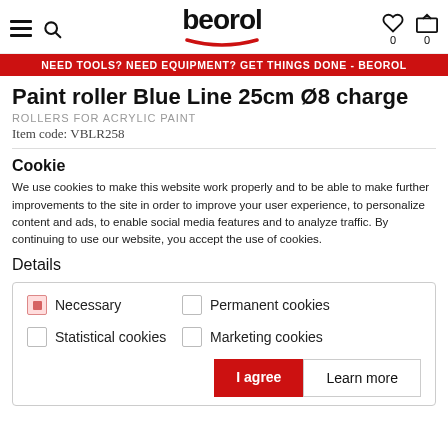beorol — navigation header with hamburger menu, search, wishlist (0), cart (0)
NEED TOOLS? NEED EQUIPMENT? GET THINGS DONE - BEOROL
Paint roller Blue Line 25cm Ø8 charge
ROLLERS FOR ACRYLIC PAINT
Item code: VBLR258
Cookie
We use cookies to make this website work properly and to be able to make further improvements to the site in order to improve your user experience, to personalize content and ads, to enable social media features and to analyze traffic. By continuing to use our website, you accept the use of cookies.
Details
| Option | Selected |
| --- | --- |
| Necessary | checked |
| Permanent cookies | unchecked |
| Statistical cookies | unchecked |
| Marketing cookies | unchecked |